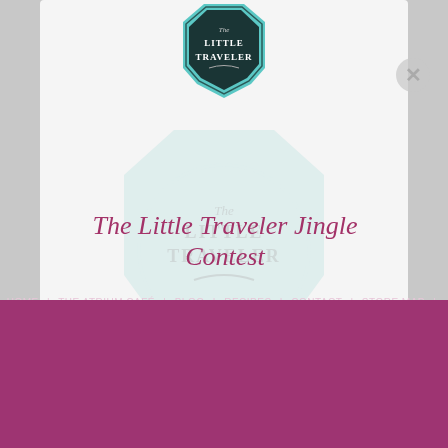[Figure (logo): The Little Traveler circular badge logo in teal/dark colors at top center]
The Little Traveler Jingle Contest
Entries must be received by Midnight on September 14. We know we have the most creative customers around—so who better to create a jingle in honor of The Little Traveler's 100th Anniversary? We invite you to enter a catchy tune in The Little Traveler...
VIEW FULL ARTICLE ❯
HOME | THE ATRIUM CAFÉ | BLOG | RECIPES | CONTACT | STORE MAP | PRIVACY POLICY | 🔒 LOGIN | 🔒 REGISTER
Subscribe To Our Weekly
Copyright © 2022 All Rights Reserved